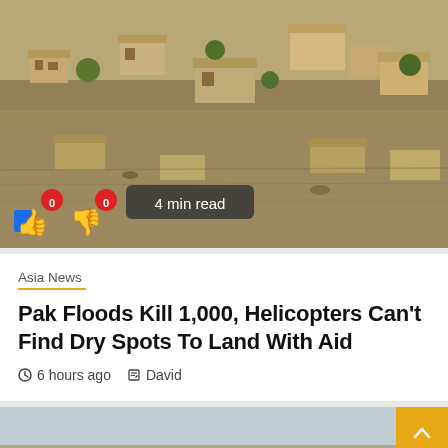[Figure (photo): Aerial view of flooded Pakistani town with buildings submerged in muddy brown water. Thumbs up and thumbs down emoji icons with vote counts of 0, and a '4 min read' badge overlay the bottom-left of the image.]
Asia News
Pak Floods Kill 1,000, Helicopters Can't Find Dry Spots To Land With Aid
6 hours ago   David
[Figure (photo): Aerial view of an arid landscape with scattered white structures/buildings. A yellow back-to-top button with chevron arrow is visible in the top-right corner.]